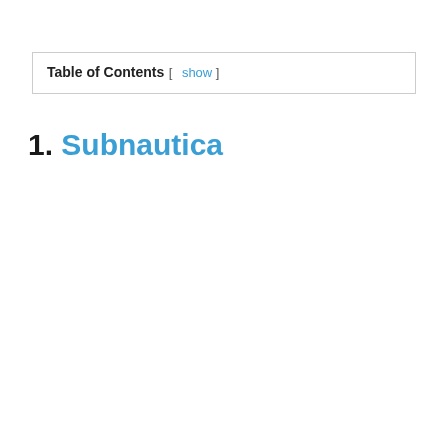Table of Contents [ show ]
1. Subnautica